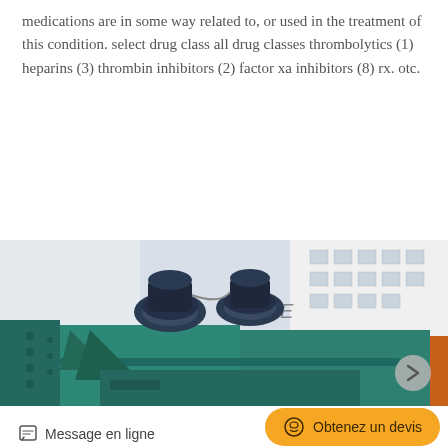medications are in some way related to, or used in the treatment of this condition. select drug class all drug classes thrombolytics (1) heparins (3) thrombin inhibitors (2) factor xa inhibitors (8) rx. otc.
Dernière Offre
[Figure (photo): Industrial green machinery with two blue motor/drum units on top, mounted on a teal/green metal frame structure, photographed outdoors in front of a white industrial building.]
Message en ligne
Obtenez un devis